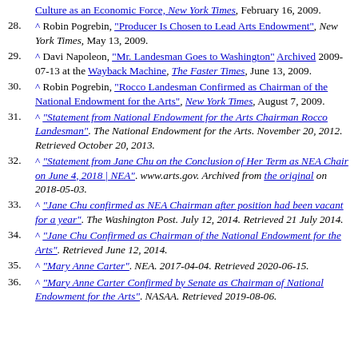Culture as an Economic Force, New York Times, February 16, 2009.
28. ^ Robin Pogrebin, "Producer Is Chosen to Lead Arts Endowment", New York Times, May 13, 2009.
29. ^ Davi Napoleon, "Mr. Landesman Goes to Washington" Archived 2009-07-13 at the Wayback Machine, The Faster Times, June 13, 2009.
30. ^ Robin Pogrebin, "Rocco Landesman Confirmed as Chairman of the National Endowment for the Arts", New York Times, August 7, 2009.
31. ^ "Statement from National Endowment for the Arts Chairman Rocco Landesman". The National Endowment for the Arts. November 20, 2012. Retrieved October 20, 2013.
32. ^ "Statement from Jane Chu on the Conclusion of Her Term as NEA Chair on June 4, 2018 | NEA". www.arts.gov. Archived from the original on 2018-05-03.
33. ^ "Jane Chu confirmed as NEA Chairman after position had been vacant for a year". The Washington Post. July 12, 2014. Retrieved 21 July 2014.
34. ^ "Jane Chu Confirmed as Chairman of the National Endowment for the Arts". Retrieved June 12, 2014.
35. ^ "Mary Anne Carter". NEA. 2017-04-04. Retrieved 2020-06-15.
36. ^ "Mary Anne Carter Confirmed by Senate as Chairman of National Endowment for the Arts". NASAA. Retrieved 2019-08-06.